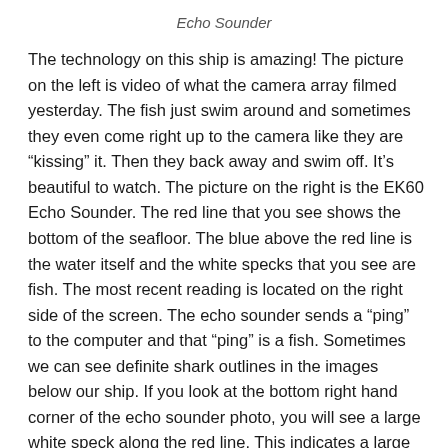Echo Sounder
The technology on this ship is amazing! The picture on the left is video of what the camera array filmed yesterday. The fish just swim around and sometimes they even come right up to the camera like they are “kissing” it. Then they back away and swim off. It’s beautiful to watch. The picture on the right is the EK60 Echo Sounder. The red line that you see shows the bottom of the seafloor. The blue above the red line is the water itself and the white specks that you see are fish. The most recent reading is located on the right side of the screen. The echo sounder sends a “ping” to the computer and that “ping” is a fish. Sometimes we can see definite shark outlines in the images below our ship. If you look at the bottom right hand corner of the echo sounder photo, you will see a large white speck along the red line. This indicates a large fish (possibly a shark) to the bottom of the ocean. Mi...